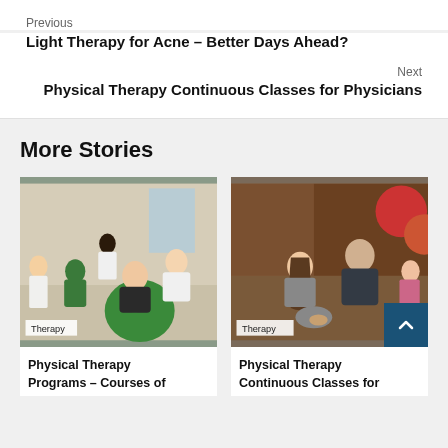Previous
Light Therapy for Acne – Better Days Ahead?
Next
Physical Therapy Continuous Classes for Physicians
More Stories
[Figure (photo): Physical therapy session with multiple students and a patient sitting on a green exercise ball in a clinical setting. Tag: Therapy]
Physical Therapy Programs – Courses of
[Figure (photo): Physical therapist working with a female patient who is seated, in a gym/clinic setting with exercise balls visible in background. Tag: Therapy]
Physical Therapy Continuous Classes for